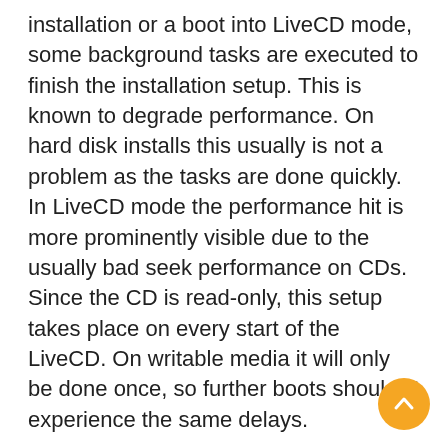installation or a boot into LiveCD mode, some background tasks are executed to finish the installation setup. This is known to degrade performance. On hard disk installs this usually is not a problem as the tasks are done quickly. In LiveCD mode the performance hit is more prominently visible due to the usually bad seek performance on CDs. Since the CD is read-only, this setup takes place on every start of the LiveCD. On writable media it will only be done once, so further boots shouldn't experience the same delays.
Font rendering, while improved due to the expired font hinting patent, is still not optimal. Due to the uncertain situation about patents, the official release has disabled code, which is known to be patented. This sadly includes the subpixel code used by FreeType. Once the situation is better